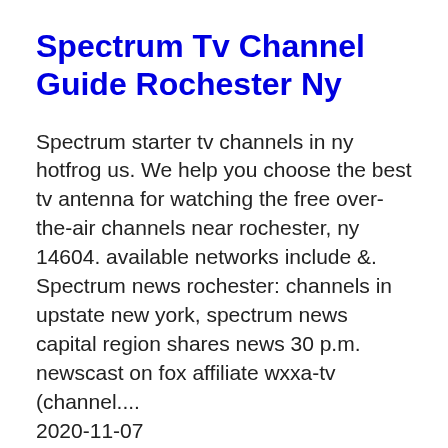Spectrum Tv Channel Guide Rochester Ny
Spectrum starter tv channels in ny hotfrog us. We help you choose the best tv antenna for watching the free over-the-air channels near rochester, ny 14604. available networks include &. Spectrum news rochester: channels in upstate new york, spectrum news capital region shares news 30 p.m. newscast on fox affiliate wxxa-tv (channel....
2020-11-07